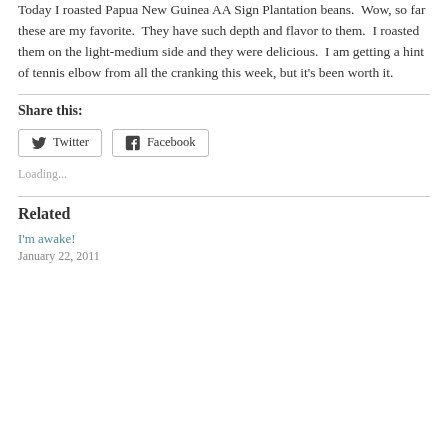Today I roasted Papua New Guinea AA Sign Plantation beans.  Wow, so far these are my favorite.  They have such depth and flavor to them.  I roasted them on the light-medium side and they were delicious.  I am getting a hint of tennis elbow from all the cranking this week, but it's been worth it.
Share this:
Twitter  Facebook
Loading...
Related
I'm awake!
January 22, 2011